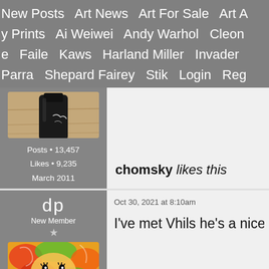New Posts   Art News   Art For Sale   Art A  y Prints   Ai Weiwei   Andy Warhol   Cleon  e   Faile   Kaws   Harland Miller   Invader   Parra   Shepard Fairey   Stik   Login   Reg
[Figure (photo): User avatar photo showing a dark bottle or object on a wooden surface]
Posts • 13,457
Likes • 9,235
March 2011
chomsky likes this
dp
New Member
★
Oct 30, 2021 at 8:10am
I've met Vhils he's a nice
[Figure (illustration): Colorful cartoon illustration with bright orange, red, and green swirling patterns and a stylized face character]